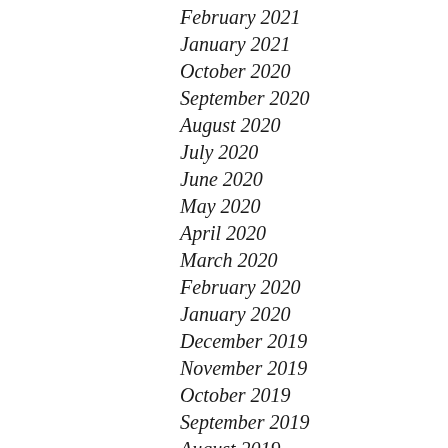February 2021
January 2021
October 2020
September 2020
August 2020
July 2020
June 2020
May 2020
April 2020
March 2020
February 2020
January 2020
December 2019
November 2019
October 2019
September 2019
August 2019
July 2019
June 2019